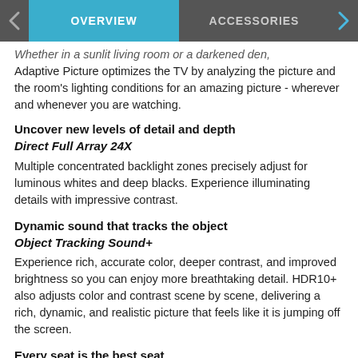OVERVIEW | ACCESSORIES
Whether in a sunlit living room or a darkened den, Adaptive Picture optimizes the TV by analyzing the picture and the room's lighting conditions for an amazing picture - wherever and whenever you are watching.
Uncover new levels of detail and depth
Direct Full Array 24X
Multiple concentrated backlight zones precisely adjust for luminous whites and deep blacks. Experience illuminating details with impressive contrast.
Dynamic sound that tracks the object
Object Tracking Sound+
Experience rich, accurate color, deeper contrast, and improved brightness so you can enjoy more breathtaking detail. HDR10+ also adjusts color and contrast scene by scene, delivering a rich, dynamic, and realistic picture that feels like it is jumping off the screen.
Every seat is the best seat
Ultra Viewing Angle
See every detail at any angle. Engineered to reduce glare and enhance color, providing a vibrant picture no matter where you sit.